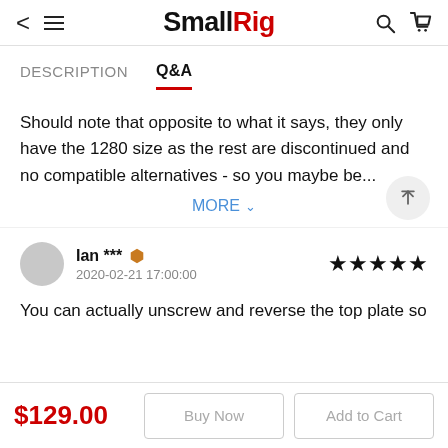SmallRig
DESCRIPTION  Q&A
Should note that opposite to what it says, they only have the 1280 size as the rest are discontinued and no compatible alternatives - so you maybe be...
MORE
Ian *** 2020-02-21 17:00:00 ★★★★★
You can actually unscrew and reverse the top plate so
$129.00
Buy Now
Add to Cart